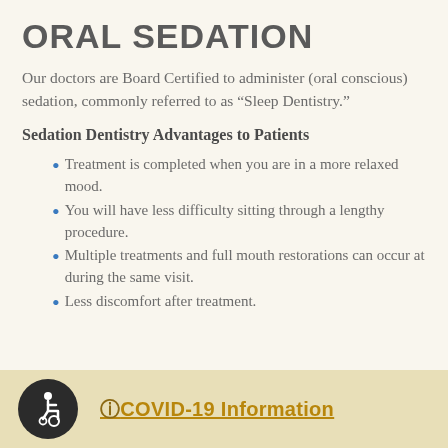ORAL SEDATION
Our doctors are Board Certified to administer (oral conscious) sedation, commonly referred to as “Sleep Dentistry.”
Sedation Dentistry Advantages to Patients
Treatment is completed when you are in a more relaxed mood.
You will have less difficulty sitting through a lengthy procedure.
Multiple treatments and full mouth restorations can occur at during the same visit.
Less discomfort after treatment.
ⓘCOVID-19 Information